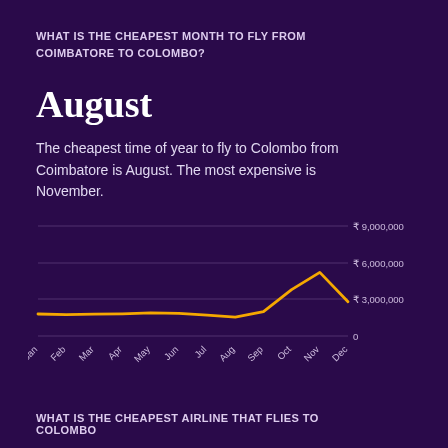WHAT IS THE CHEAPEST MONTH TO FLY FROM COIMBATORE TO COLOMBO?
August
The cheapest time of year to fly to Colombo from Coimbatore is August. The most expensive is November.
[Figure (line-chart): Flight price by month: Coimbatore to Colombo]
WHAT IS THE CHEAPEST AIRLINE THAT FLIES TO COLOMBO